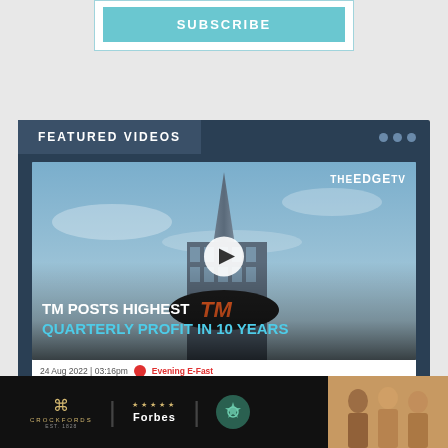[Figure (screenshot): Subscribe button inside a light-bordered box with teal background]
FEATURED VIDEOS
[Figure (screenshot): Video thumbnail of TM (Telekom Malaysia) tower building with play button overlay and text: TM POSTS HIGHEST QUARTERLY PROFIT IN 10 YEARS. TheEdgeTV logo in top right.]
24 Aug 2022 | 03:16pm  Evening E-Fast
[Figure (screenshot): Advertisement bar with Crockfords, Forbes, and Verified logos, plus photo of people on right side]